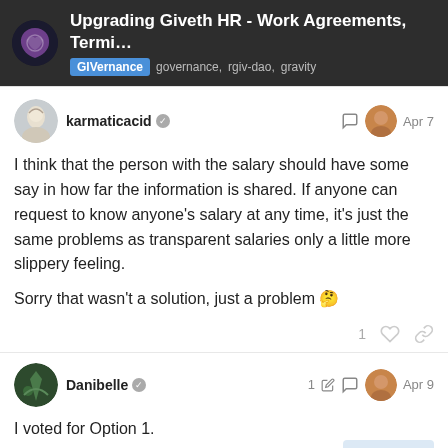Upgrading Giveth HR - Work Agreements, Termi… | GIVernance governance, rgiv-dao, gravity
karmaticacid Apr 7
I think that the person with the salary should have some say in how far the information is shared. If anyone can request to know anyone's salary at any time, it's just the same problems as transparent salaries only a little more slippery feeling.

Sorry that wasn't a solution, just a problem 🤔
Danibelle Apr 9
I voted for Option 1.

I haven't spoken up much about it because